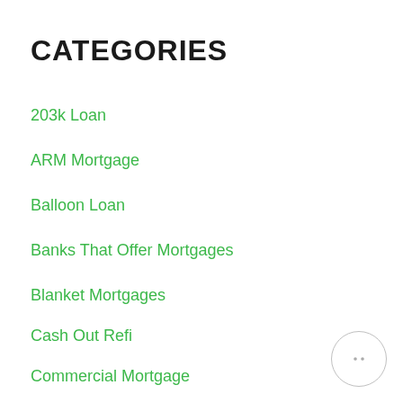CATEGORIES
203k Loan
ARM Mortgage
Balloon Loan
Banks That Offer Mortgages
Blanket Mortgages
Cash Out Refi
Commercial Mortgage
Commercial Real Estate Mortgage
Conforming Mortgage